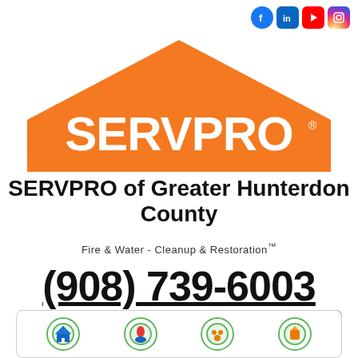[Figure (logo): Social media icons: Facebook, LinkedIn, YouTube, Instagram in top right corner]
[Figure (logo): SERVPRO orange house/roof logo with SERVPRO text in white]
SERVPRO of Greater Hunterdon County
Fire & Water - Cleanup & Restoration™
(908) 739-6003
[Figure (logo): Request Help Online button with computer monitor icon]
[Figure (other): Hamburger menu icon (green square with three white lines)]
[Figure (other): Bottom row of circular service icons]